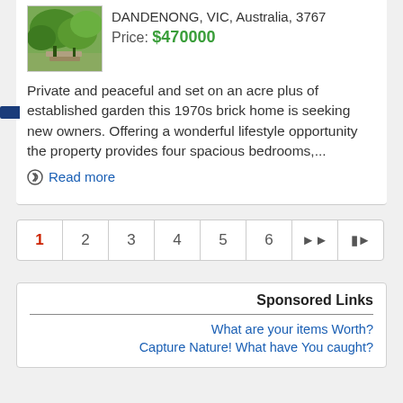[Figure (photo): Outdoor garden/vegetation photo for property listing]
DANDENONG, VIC, Australia, 3767
Price: $470000
Private and peaceful and set on an acre plus of established garden this 1970s brick home is seeking new owners. Offering a wonderful lifestyle opportunity the property provides four spacious bedrooms,...
Read more
1
2
3
4
5
6
Sponsored Links
What are your items Worth?
Capture Nature! What have You caught?